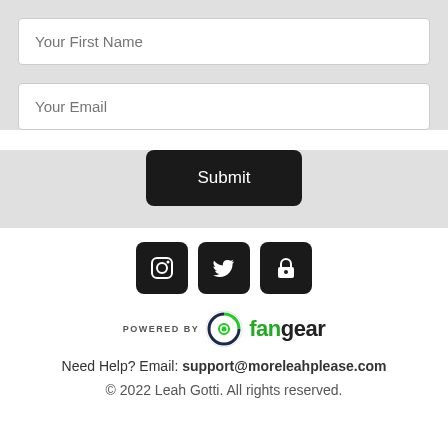Your First Name
Your Email
Submit
[Figure (infographic): Three social media icon buttons: Instagram, Twitter, and a lock/privacy icon, each in a black rounded square]
[Figure (logo): Powered by Fangear logo with green circular icon and fangear text]
Need Help? Email: support@moreleahplease.com
© 2022 Leah Gotti. All rights reserved.